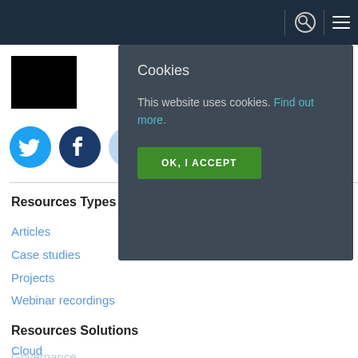[Figure (screenshot): Dark navy navigation bar with search icon and hamburger menu icons on the right]
[Figure (photo): Partial black rectangle representing a logo or image placeholder]
[Figure (illustration): Twitter and Facebook social media circular icons in blue]
[Figure (screenshot): Cookie consent modal dialog with dark background, title 'Cookies', body text, and green OK button]
Resources Types
Articles
Case studies
Projects
Webinar recordings
Resources Solutions
Cloud
Governance